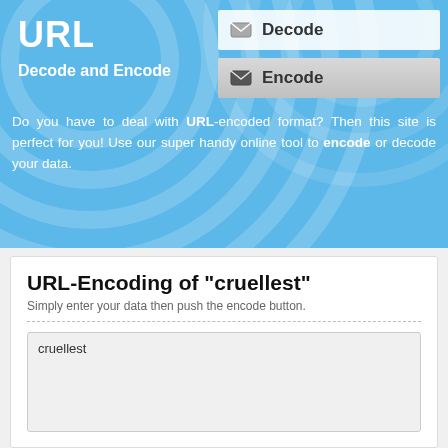URL
Decode and Encode
[Figure (screenshot): Decode button with envelope icon, white background]
[Figure (screenshot): Encode button with envelope icon, grey gradient background]
Do you have to deal with URL-encoded format? Then this site is perfect for you! Use our super handy online tool to encode or decode your data.
URL-Encoding of "cruellest"
Simply enter your data then push the encode button.
cruellest